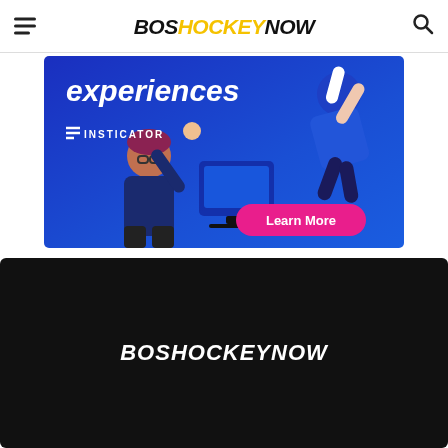BosHockeyNow
[Figure (infographic): Insticator advertisement banner with blue background, cartoon illustration of person at laptop with text 'experiences', Insticator branding, and a pink 'Learn More' button]
[Figure (logo): BosHockeyNow logo on black background card]